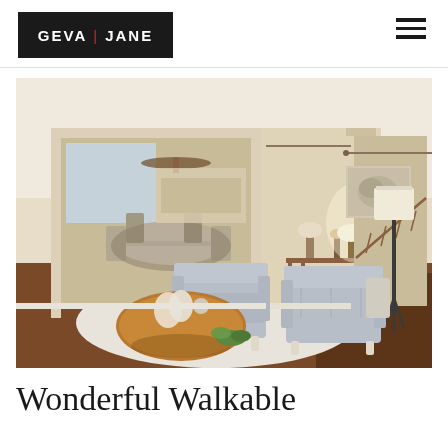GEVA | JANE
[Figure (photo): Interior living room photo showing two modern light grey upholstered chairs on a white area rug, a round brown coffee table with decorative white sculpture, a wall-mounted abstract artwork, a floor lamp with tripod base, a wooden console table with decorative items, and a view through a doorway into a dining room with ceiling fan and kitchen beyond; staircase visible through another opening; hardwood floors throughout.]
Wonderful Walkable